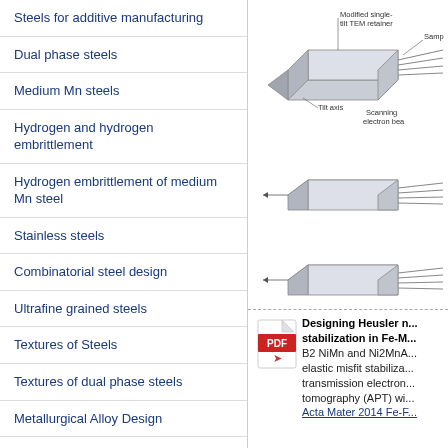Steels for additive manufacturing
Dual phase steels
Medium Mn steels
Hydrogen and hydrogen embrittlement
Hydrogen embrittlement of medium Mn steel
Stainless steels
Combinatorial steel design
Ultrafine grained steels
Textures of Steels
Textures of dual phase steels
Metallurgical Alloy Design
Metastability Alloy Design
TWIP steels
TRIP steels
Shape Memory Steels
[Figure (engineering-diagram): Three diagrams of modified single-tilt TEM retainer sample holders showing tilt axis orientation and scanning electron beam direction. Labels: Modified single-tilt TEM retainer, Sample, Tilt axis, Scanning electron beam.]
Designing Heusler n... stabilization in Fe-M... B2 NiMn and Ni2MnA... elastic misfit stabiliza... transmission electron... tomography (APT) wi... Acta Mater 2014 Fe-...